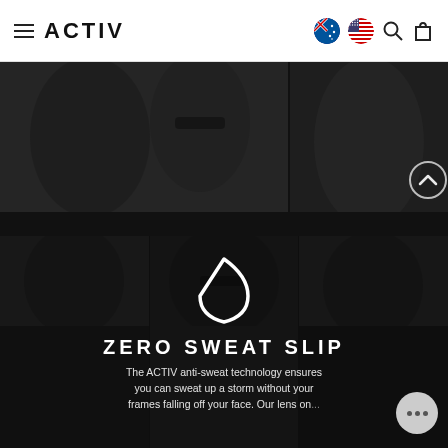ACTIV — navigation bar with hamburger menu, logo, country flags (Australia, USA), search and cart icons
[Figure (photo): Dark-toned collage of people wearing ACTIV sunglasses — upper strip with two panels]
[Figure (photo): Dark-toned collage of three people wearing ACTIV sunglasses — lower section background]
[Figure (illustration): White water droplet / sweat drop outline icon centered on dark background]
ZERO SWEAT SLIP
The ACTIV anti-sweat technology ensures you can sweat up a storm without your frames falling off your face. Our lens on...